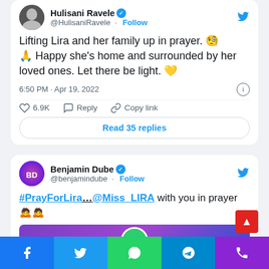[Figure (screenshot): Twitter/X profile header for Hulisani Ravele with avatar photo and verified badge, @HulisaniRavele handle and Follow link, Twitter bird icon top right]
Lifting Lira and her family up in prayer. 🧐🙏 Happy she's home and surrounded by her loved ones. Let there be light. 💛
6:50 PM · Apr 19, 2022
♡ 6.9K  Reply  Copy link
Read 35 replies
[Figure (screenshot): Twitter/X profile header for Benjamin Dube with avatar and verified badge, @benjamindube handle and Follow link, Twitter bird icon top right]
#PrayForLira…@Miss_LIRA with you in prayer 🙇🙇